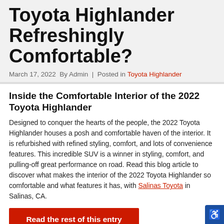Toyota Highlander Refreshingly Comfortable?
March 17, 2022  By Admin  |  Posted in  Toyota Highlander
Inside the Comfortable Interior of the 2022 Toyota Highlander
Designed to conquer the hearts of the people, the 2022 Toyota Highlander houses a posh and comfortable haven of the interior. It is refurbished with refined styling, comfort, and lots of convenience features. This incredible SUV is a winner in styling, comfort, and pulling-off great performance on road. Read this blog article to discover what makes the interior of the 2022 Toyota Highlander so comfortable and what features it has, with Salinas Toyota in Salinas, CA.
Read the rest of this entry